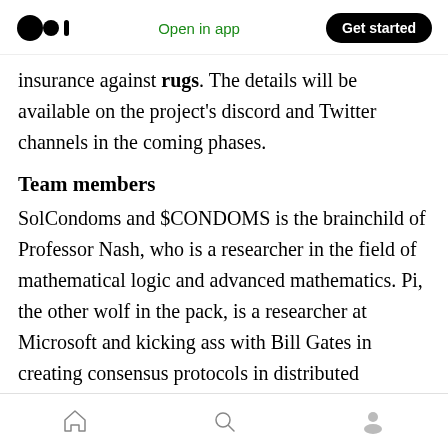Medium logo | Open in app | Get started
insurance against rugs. The details will be available on the project's discord and Twitter channels in the coming phases.
Team members
SolCondoms and $CONDOMS is the brainchild of Professor Nash, who is a researcher in the field of mathematical logic and advanced mathematics. Pi, the other wolf in the pack, is a researcher at Microsoft and kicking ass with Bill Gates in creating consensus protocols in distributed systems. Alan, a Ph.D. student in reasoning
Home | Search | Profile